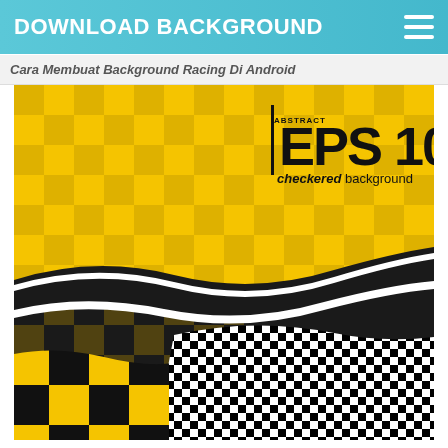DOWNLOAD BACKGROUND
Cara Membuat Background Racing Di Android
[Figure (illustration): Yellow checkered racing background with EPS 10 logo text and black-and-white checkered flag wave at bottom]